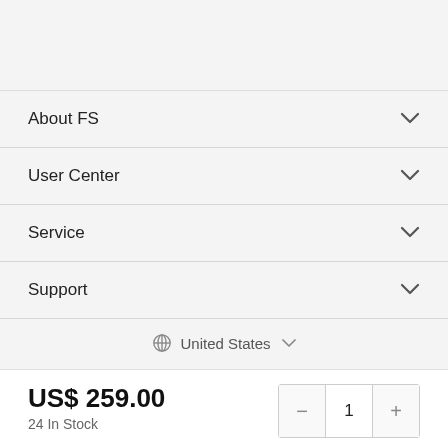About FS
User Center
Service
Support
United States
US$ 259.00
24 In Stock
Add to Cart